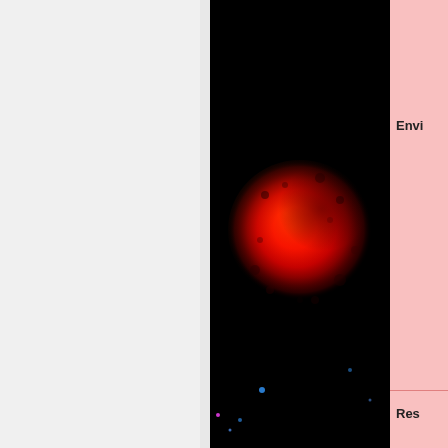[Figure (photo): Fluorescence microscopy image of a spheroid cell cluster glowing red/orange against a black background, with scattered small blue dots]
Envi
Res